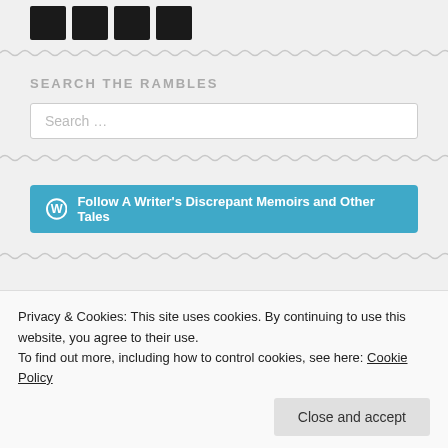[Figure (other): Row of four black social media icon buttons]
SEARCH THE RAMBLES
Search …
Follow A Writer's Discrepant Memoirs and Other Tales
Privacy & Cookies: This site uses cookies. By continuing to use this website, you agree to their use.
To find out more, including how to control cookies, see here: Cookie Policy
Close and accept